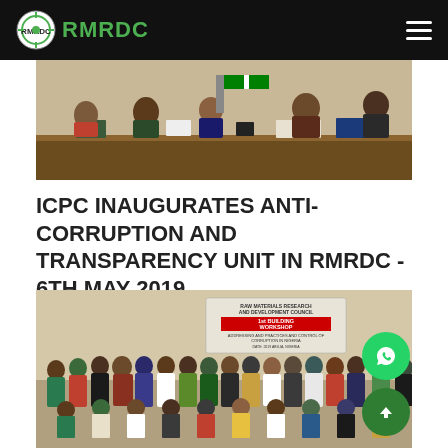RMRDC
[Figure (photo): People seated at a long table during a meeting, viewed from the front. A banner with RMRDC logo is visible in the background.]
ICPC INAUGURATES ANTI-CORRUPTION AND TRANSPARENCY UNIT IN RMRDC - 6TH MAY 2019
[Figure (photo): Large group photo of attendees standing and seated in front of a banner reading Raw Materials Research and Development Council, 1st Building Workshop, Addressing and Practices and Control of Corruption in Nigeria.]